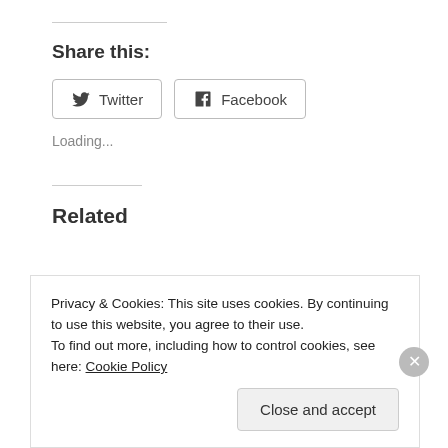Share this:
[Figure (other): Twitter share button with Twitter bird icon]
[Figure (other): Facebook share button with Facebook 'f' icon]
Loading...
Related
Privacy & Cookies: This site uses cookies. By continuing to use this website, you agree to their use. To find out more, including how to control cookies, see here: Cookie Policy
Close and accept